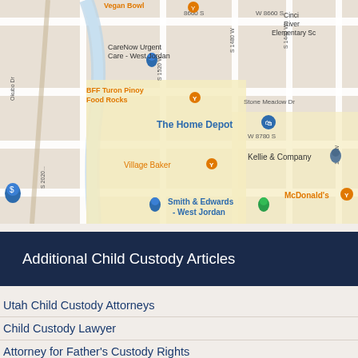[Figure (map): Google Maps view of West Jordan, Utah area showing landmarks including CareNow Urgent Care - West Jordan, BFF Turon Pinoy Food Rocks, The Home Depot, Village Baker, Smith & Edwards - West Jordan, Kellie & Company, and McDonald's. Streets visible include S 1520 W, S 1480 W, S 1440 W, W 8660 S, W 8780 S, and Stone Meadow Dr. Vegan Bowl and Cinci River Elementary Sc also visible.]
Additional Child Custody Articles
Utah Child Custody Attorneys
Child Custody Lawyer
Attorney for Father's Custody Rights
How is Child Custody Determined in Utah?